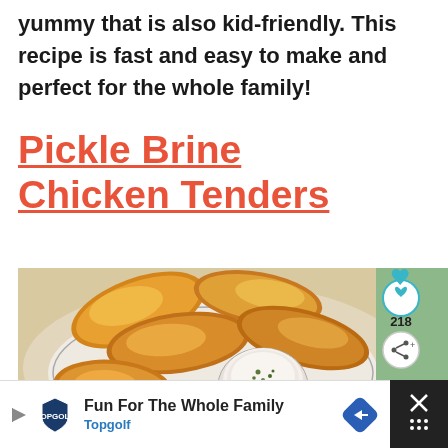yummy that is also kid-friendly. This recipe is fast and easy to make and perfect for the whole family!
Pickle Brine Chicken Tenders
[Figure (photo): Plate of crispy golden fried chicken tenders with a small bowl of dipping sauce (white with green herbs), shown from above on parchment paper. Social interaction buttons (heart icon, share icon) visible on right side with count 218. 'What's Next' widget showing '31 Chicken Recipes to...' in bottom right corner.]
WHAT'S NEXT → 31 Chicken Recipes to...
Fun For The Whole Family  Topgolf